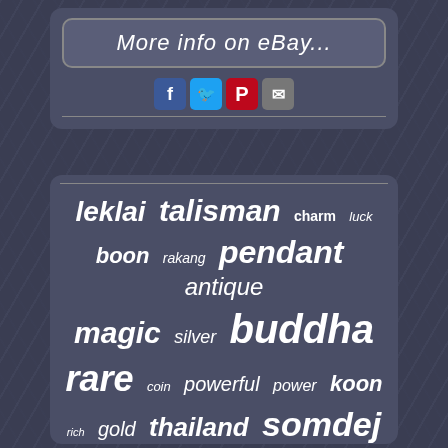[Figure (screenshot): eBay listing button with 'More info on eBay...' text in a rounded rectangle, with social sharing icons (Facebook, Twitter, Pinterest, Email) below it, on a dark slate-blue card background]
[Figure (infographic): Tag cloud of Thai amulet related keywords on a dark slate-blue card. Words include: leklai, talisman, charm, luck, boon, rakang, pendant, antique, magic, silver, buddha, rare, coin, powerful, power, koon, rich, gold, thailand, somdej, protect, phim, kaew, naga, statue, case, phra, real, thai, amulet — displayed in varying font sizes indicating relative importance.]